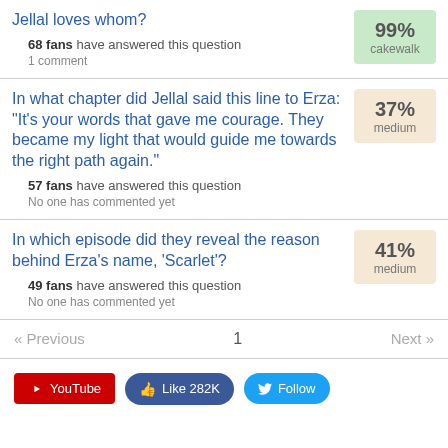Jellal loves whom?
68 fans have answered this question
1 comment
In what chapter did Jellal said this line to Erza: "It's your words that gave me courage. They became my light that would guide me towards the right path again."
57 fans have answered this question
No one has commented yet
In which episode did they reveal the reason behind Erza's name, 'Scarlet'?
49 fans have answered this question
No one has commented yet
« Previous    1    Next »
YouTube   Like 282K   Follow